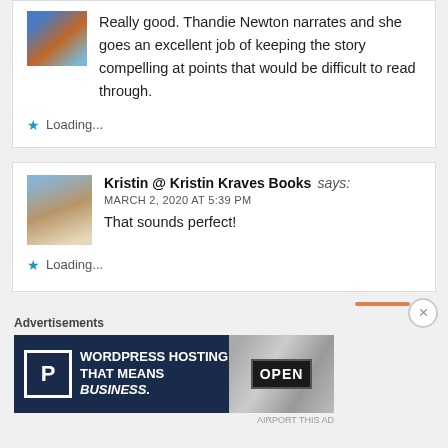Really good. Thandie Newton narrates and she goes an excellent job of keeping the story compelling at points that would be difficult to read through.
Loading...
Kristin @ Kristin Kraves Books says:
MARCH 2, 2020 AT 5:39 PM
That sounds perfect!
Loading...
Advertisements
[Figure (screenshot): WordPress Hosting advertisement banner with P icon and OPEN sign photo]